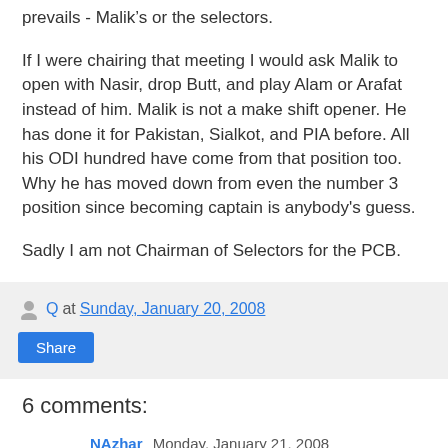prevails - Malik’s or the selectors.
If I were chairing that meeting I would ask Malik to open with Nasir, drop Butt, and play Alam or Arafat instead of him. Malik is not a make shift opener. He has done it for Pakistan, Sialkot, and PIA before. All his ODI hundred have come from that position too. Why he has moved down from even the number 3 position since becoming captain is anybody's guess.
Sadly I am not Chairman of Selectors for the PCB.
Q at Sunday, January 20, 2008
Share
6 comments:
NAzhar  Monday, January 21, 2008
I agree about Safraz being there instead of Akmal. I don't